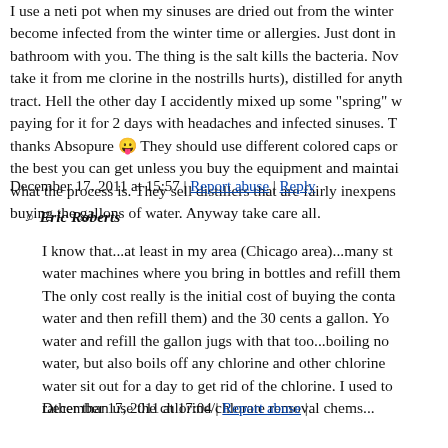I use a neti pot when my sinuses are dried out from the winter become infected from the winter time or allergies. Just dont in bathroom with you. The thing is the salt kills the bacteria. Now take it from me clorine in the nostrills hurts), distilled for anyth tract. Hell the other day I accidently mixed up some "spring" w paying for it for 2 days with headaches and infected sinuses. T thanks Absopure 😛 They should use different colored caps or the best you can get unless you buy the equipment and maintai what the process is. They sell distillers that are fairly inexpens buying the gallons of water. Anyway take care all.
December 17, 2011 at 15:57 | Report abuse | Reply
Eric Roberts
I know that...at least in my area (Chicago area)...many st water machines where you bring in bottles and refill them The only cost really is the initial cost of buying the conta water and then refill them) and the 30 cents a gallon. Yo water and refill the gallon jugs with that too...boiling no water, but also boils off any chlorine and other chlorine water sit out for a day to get rid of the chlorine. I used to rather than use the chlorine/chlorate removal chems...
December 17, 2011 at 17:04 | Report abuse |